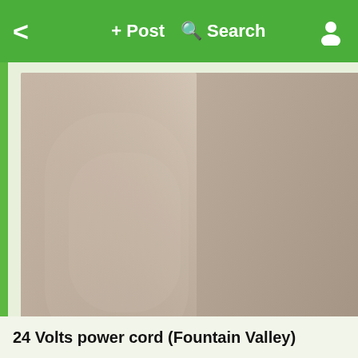< + Post Q Search [user icon]
[Figure (photo): A blurry photo of what appears to be a flat metallic or wooden panel, taupe/gray-brown in color, shown vertically against a light greenish background.]
24 Volts power cord (Fountain Valley)